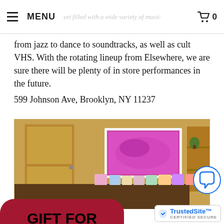MENU  [cart icon] 0  [faded text: yet filled with a wide variety of music]
from jazz to dance to soundtracks, as well as cult VHS. With the rotating lineup from Elsewhere, we are sure there will be plenty of in store performances in the future.
599 Johnson Ave, Brooklyn, NY 11237
[Figure (photo): Interior of a record store or boutique with wood-paneled walls, a pink/magenta framed artwork on the wall, a shelf with plants and books, and a counter with various items and records displayed.]
ooth connected record ing your ANC 410 or ANC ing headphones to you ithout disturbing your artner!
[Figure (infographic): Red rounded rectangle popup overlay with bold black text 'GIFT FOR YOU!' and below a gray rounded section with bold text 'Click to Open!']
[Figure (logo): TrustedSite CERTIFIED SECURE badge with blue checkmark icon]